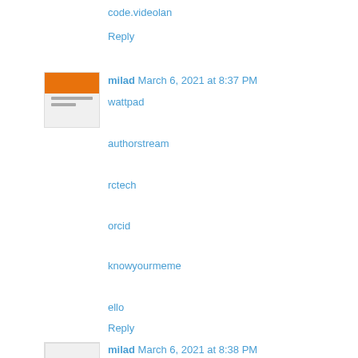code.videolan
Reply
milad  March 6, 2021 at 8:37 PM
wattpad
authorstream
rctech
orcid
knowyourmeme
ello
Reply
milad  March 6, 2021 at 8:38 PM